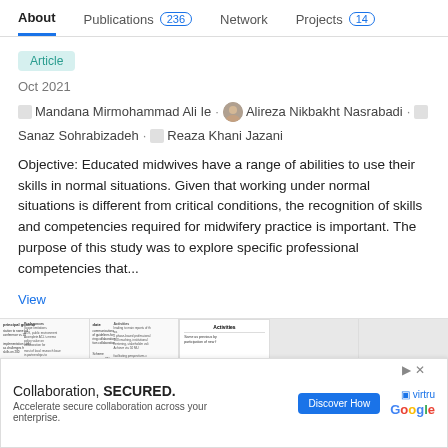About  Publications 236  Network  Projects 14
Article
Oct 2021
Mandana Mirmohammad Ali Ie · Alireza Nikbakht Nasrabadi · Sanaz Sohrabizadeh · Reaza Khani Jazani
Objective: Educated midwives have a range of abilities to use their skills in normal situations. Given that working under normal situations is different from critical conditions, the recognition of skills and competencies required for midwifery practice is important. The purpose of this study was to explore specific professional competencies that...
View
[Figure (screenshot): Small thumbnails of document/table pages and an advertisement overlay]
[Figure (screenshot): Advertisement banner: Collaboration, SECURED. Discover How. virtru Google.]